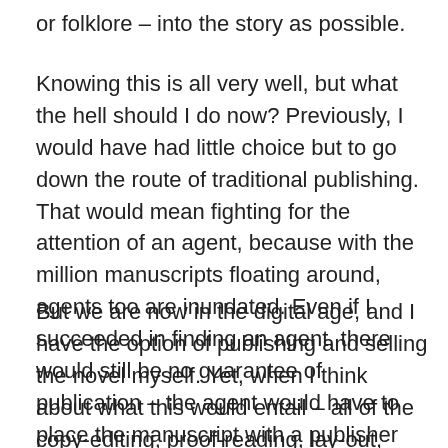or folklore – into the story as possible.
Knowing this is all very well, but what the hell should I do now? Previously, I would have had little choice but to go down the route of traditional publishing. That would mean fighting for the attention of an agent, because with the million manuscripts floating around, agents too are inundated. Even if I succeeded in finding an agent, there would still be no guarantee of publication – the agent would have to place the manuscript with a publisher willing to take on the book and the risk of a new writer.
But we are now in the digital age, and I have the option of publishing and selling the novel myself. Yet, when I think about what this would entail – all of the copy-editing, proof-reading, lay-out, design, printing (since not everyone in my target audience would have an e-book reader) and